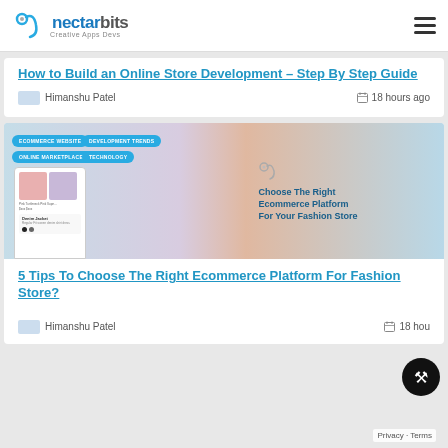nectarbits – Creative Apps Devs
How to Build an Online Store Development – Step By Step Guide
Himanshu Patel   18 hours ago
[Figure (illustration): Banner image for article about choosing the right ecommerce platform for fashion store, with tags: ECOMMERCE WEBSITE, DEVELOPMENT TRENDS, ONLINE MARKETPLACE APP, TECHNOLOGY, and text 'Choose The Right Ecommerce Platform For Your Fashion Store']
5 Tips To Choose The Right Ecommerce Platform For Fashion Store?
Himanshu Patel   18 hours ago